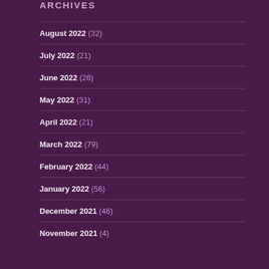ARCHIVES
August 2022 (32)
July 2022 (21)
June 2022 (26)
May 2022 (31)
April 2022 (21)
March 2022 (79)
February 2022 (44)
January 2022 (56)
December 2021 (46)
November 2021 (4)